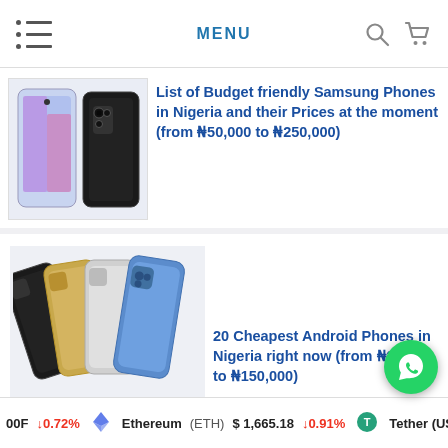MENU
[Figure (photo): Samsung Galaxy A53 phone shown from front and back angles in black color]
List of Budget friendly Samsung Phones in Nigeria and their Prices at the moment (from N50,000 to N250,000)
[Figure (photo): Multiple iPhone 13 Pro phones in different colors (black, gold, silver, blue) fanned out showing back cameras]
20 Cheapest Android Phones in Nigeria right now (from N20,000 to N150,000)
00F ↓0.72%  Ethereum (ETH) $1,665.18 ↓0.91%  Tether (US...